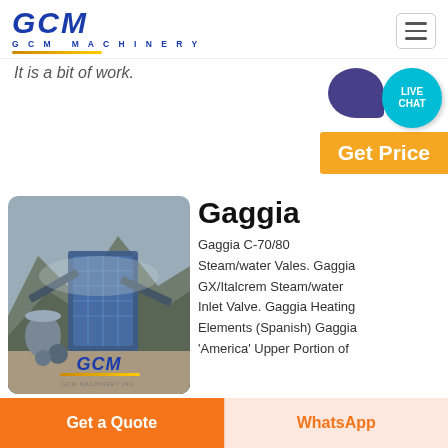[Figure (logo): GCM Machinery logo with stylized blue letters and gold underline]
It is a bit of work.
[Figure (infographic): Live Chat bubble in teal with purple speech bubble behind it, and Get Price orange button]
[Figure (photo): Aerial photo of a large industrial crushing/quarry plant with blue machinery structures, conveyors, and dust. GCM logo overlay at bottom center.]
Gaggia
Gaggia C-70/80 Steam/water Vales. Gaggia GX/Italcrem Steam/water Inlet Valve. Gaggia Heating Elements (Spanish) Gaggia 'America' Upper Portion of Piston Group. Gaggia 'America' Lower Portion of Piston Group. Gaggia Italia Old Levels. Gaggia GD/GE/TS Electronics. Zola 1